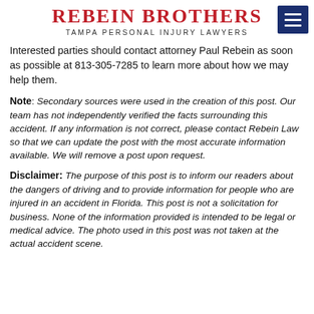REBEIN BROTHERS
TAMPA PERSONAL INJURY LAWYERS
Interested parties should contact attorney Paul Rebein as soon as possible at 813-305-7285 to learn more about how we may help them.
Note: Secondary sources were used in the creation of this post. Our team has not independently verified the facts surrounding this accident. If any information is not correct, please contact Rebein Law so that we can update the post with the most accurate information available. We will remove a post upon request.
Disclaimer: The purpose of this post is to inform our readers about the dangers of driving and to provide information for people who are injured in an accident in Florida. This post is not a solicitation for business. None of the information provided is intended to be legal or medical advice. The photo used in this post was not taken at the actual accident scene.